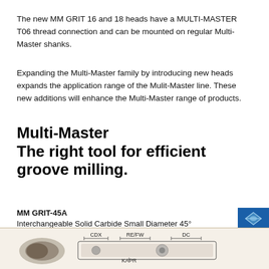The new MM GRIT 16 and 18 heads have a MULTI-MASTER T06 thread connection and can be mounted on regular Multi-Master shanks.
Expanding the Multi-Master family by introducing new heads expands the application range of the Mulit-Master line. These new additions will enhance the Multi-Master range of products.
Multi-Master
The right tool for efficient groove milling.
MM GRIT-45A
Interchangeable Solid Carbide Small Diameter 45° Chamfering Heads
[Figure (engineering-diagram): Engineering technical diagram of MM GRIT-45A tool head showing CDX, RE/FW, DC dimensions and KAPR angle label, with cross-section views]